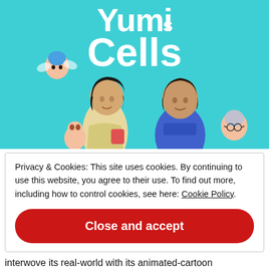[Figure (photo): Promotional banner for 'Yumi's Cells' TV show. Teal/cyan background with the show title in large white bold text at top. Two live actors (a woman with short dark hair in a yellow outfit and a man in a blue shirt) stand in the center-lower area. Several animated cartoon cell characters are placed around them.]
Privacy & Cookies: This site uses cookies. By continuing to use this website, you agree to their use. To find out more, including how to control cookies, see here: Cookie Policy
Close and accept
interwove its real-world with its animated-cartoon